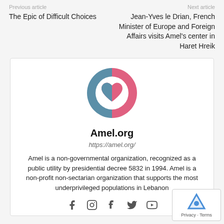Previous article
The Epic of Difficult Choices
Next article
Jean-Yves le Drian, French Minister of Europe and Foreign Affairs visits Amel's center in Haret Hreik
[Figure (logo): Amel.org circular logo with blue and pink halves, white heart in center]
Amel.org
https://amel.org/
Amel is a non-governmental organization, recognized as a public utility by presidential decree 5832 in 1994. Amel is a non-profit non-sectarian organization that supports the most underprivileged populations in Lebanon
[Figure (other): Social media icons: Facebook, Instagram, Tumblr/other, Twitter, YouTube]